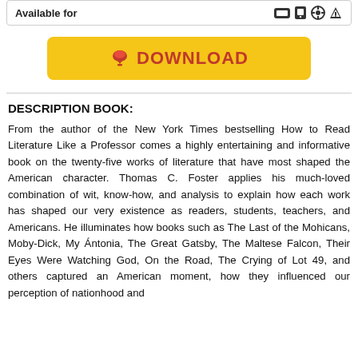Available for
[Figure (other): Yellow download button with cloud/download icon and text DOWNLOAD in red]
DESCRIPTION BOOK:
From the author of the New York Times bestselling How to Read Literature Like a Professor comes a highly entertaining and informative book on the twenty-five works of literature that have most shaped the American character. Thomas C. Foster applies his much-loved combination of wit, know-how, and analysis to explain how each work has shaped our very existence as readers, students, teachers, and Americans. He illuminates how books such as The Last of the Mohicans, Moby-Dick, My Ántonia, The Great Gatsby, The Maltese Falcon, Their Eyes Were Watching God, On the Road, The Crying of Lot 49, and others captured an American moment, how they influenced our perception of nationhood and